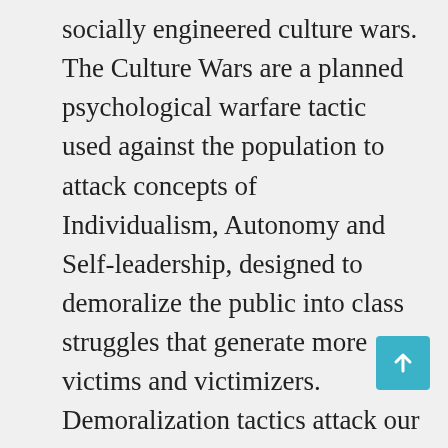socially engineered culture wars. The Culture Wars are a planned psychological warfare tactic used against the population to attack concepts of Individualism, Autonomy and Self-leadership, designed to demoralize the public into class struggles that generate more victims and victimizers. Demoralization tactics attack our mental body and distorts our mental map, so that we give up our personal autonomy and capacity for self-leadership, not believing in our own innate abilities to co-create a fulfilling and meaningful life for ourselves. Dehumanization tactics are attacks made against our core soul essence, distorting our m into believing that humans are not worthy of humane treatment, leading to increased violence, war crimes and Genocide. As a result, many people